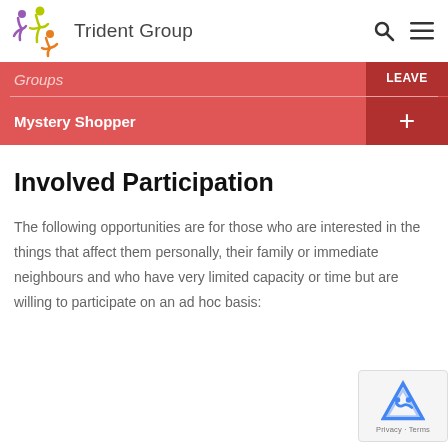Trident Group
Groups
Mystery Shopper
Involved Participation
The following opportunities are for those who are interested in the things that affect them personally, their family or immediate neighbours and who have very limited capacity or time but are willing to participate on an ad hoc basis: